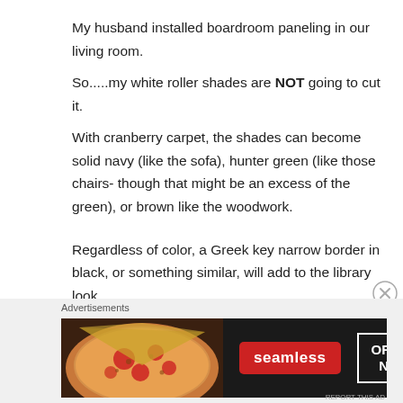My husband installed boardroom paneling in our living room.
So.....my white roller shades are NOT going to cut it.
With cranberry carpet, the shades can become solid navy (like the sofa), hunter green (like those chairs- though that might be an excess of the green), or brown like the woodwork.
Regardless of color, a Greek key narrow border in black, or something similar, will add to the library look.
Advertisements
[Figure (other): Seamless food delivery advertisement banner showing pizza on the left, the Seamless logo in red, and an ORDER NOW button on the right against a dark background.]